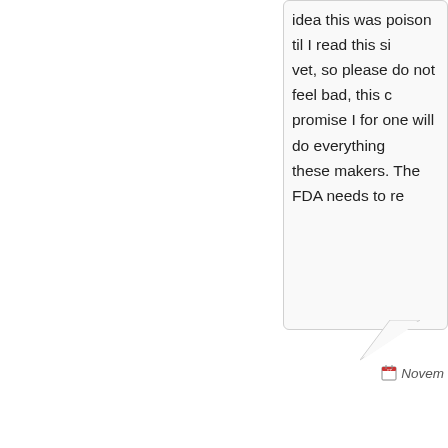idea this was poison til I read this si vet, so please do not feel bad, this c promise I for one will do everything these makers. The FDA needs to re
Novem
Kelly Ortiz says:
Hi, I have an almost 7 month old Tiny Toy Poodl would be perfect for Brutus. So, last month I one half to him with his lunch and the other was shivering and crying. I took him to the v didn't see amything wrong with Brutus and t past Sunday night was his second month of t him half with this lunch and half with his din been throwing up at least once a day and his one hard poop since before he took this pill